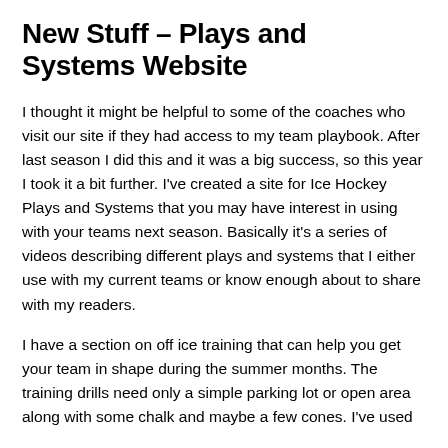New Stuff – Plays and Systems Website
I thought it might be helpful to some of the coaches who visit our site if they had access to my team playbook. After last season I did this and it was a big success, so this year I took it a bit further. I've created a site for Ice Hockey Plays and Systems that you may have interest in using with your teams next season. Basically it's a series of videos describing different plays and systems that I either use with my current teams or know enough about to share with my readers.
I have a section on off ice training that can help you get your team in shape during the summer months. The training drills need only a simple parking lot or open area along with some chalk and maybe a few cones. I've used